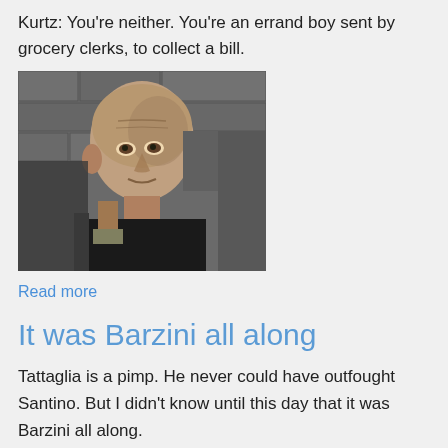Kurtz: You're neither. You're an errand boy sent by grocery clerks, to collect a bill.
[Figure (photo): Black and white photo of a bald man holding something, looking serious, against a stone wall background]
Read more
It was Barzini all along
Tattaglia is a pimp. He never could have outfought Santino. But I didn't know until this day that it was Barzini all along.
– The Godfather
[Figure (photo): Color photo, partially visible at bottom of page, warm tones]